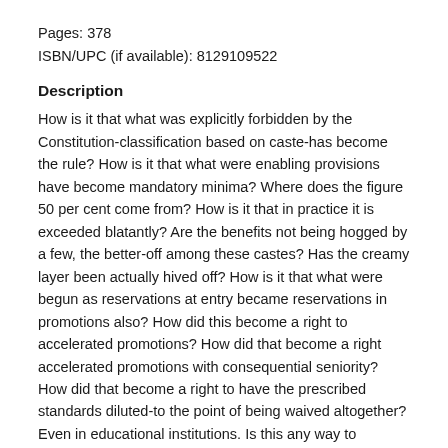Pages: 378
ISBN/UPC (if available): 8129109522
Description
How is it that what was explicitly forbidden by the Constitution-classification based on caste-has become the rule? How is it that what were enabling provisions have become mandatory minima? Where does the figure 50 per cent come from? How is it that in practice it is exceeded blatantly? Are the benefits not being hogged by a few, the better-off among these castes? Has the creamy layer been actually hived off? How is it that what were begun as reservations at entry became reservations in promotions also? How did this become a right to accelerated promotions? How did that become a right accelerated promotions with consequential seniority? How did that become a right to have the prescribed standards diluted-to the point of being waived altogether? Even in educational institutions. Is this any way to become a knowledge super-power?
As there has been no caste-wise enumeration and tabulation since the 1931 Census, we have been going on third-finger-OBC...